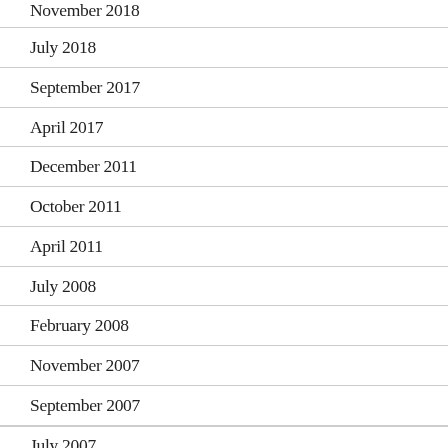November 2018
July 2018
September 2017
April 2017
December 2011
October 2011
April 2011
July 2008
February 2008
November 2007
September 2007
July 2007